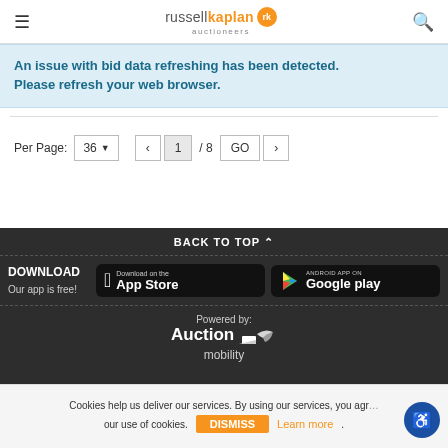russellkaplan auctioneers
An issue with bid data refreshing has been detected. Please refresh your web browser.
Per Page: 36  ‹  1 / 8  GO  ›
BACK TO TOP ∧
DOWNLOAD
Our app is free!
[Figure (logo): Download on the App Store badge]
[Figure (logo): Android App on Google Play badge]
Powered by: Auction mobility
Cookies help us deliver our services. By using our services, you agree to our use of cookies. DISMISS  Learn more.